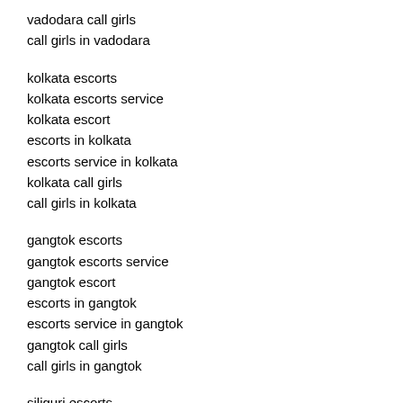vadodara call girls
call girls in vadodara
kolkata escorts
kolkata escorts service
kolkata escort
escorts in kolkata
escorts service in kolkata
kolkata call girls
call girls in kolkata
gangtok escorts
gangtok escorts service
gangtok escort
escorts in gangtok
escorts service in gangtok
gangtok call girls
call girls in gangtok
siliguri escorts
siliguri escorts service
siliguri escort
escorts in siliguri
escorts service in siliguri